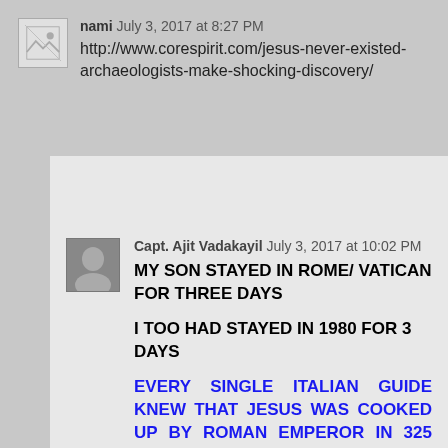nami July 3, 2017 at 8:27 PM
http://www.corespirit.com/jesus-never-existed-archaeologists-make-shocking-discovery/
Capt. Ajit Vadakayil July 3, 2017 at 10:02 PM
MY SON STAYED IN ROME/ VATICAN FOR THREE DAYS
I TOO HAD STAYED IN 1980 FOR 3 DAYS
EVERY SINGLE ITALIAN GUIDE KNEW THAT JESUS WAS COOKED UP BY ROMAN EMPEROR IN 325 AD-- AND EVERY SINGLE GUIDE KNEW OF